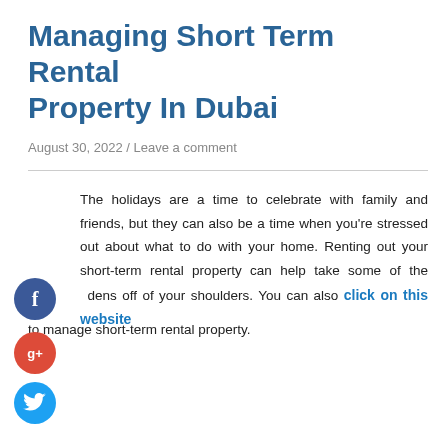Managing Short Term Rental Property In Dubai
August 30, 2022 / Leave a comment
The holidays are a time to celebrate with family and friends, but they can also be a time when you're stressed out about what to do with your home. Renting out your short-term rental property can help take some of the burden off of your shoulders. You can also click on this website to manage short-term rental property.
[Figure (infographic): Social media share buttons: Facebook (blue circle with f), Google+ (red circle with g+), Twitter (blue circle with bird icon), and a dark circle with plus sign]
to manage short-term rental property.